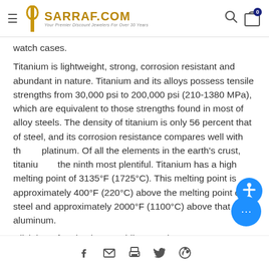SARRAF.COM — Your Premier Discount Jewelers For Over 30 Years
watch cases.
Titanium is lightweight, strong, corrosion resistant and abundant in nature. Titanium and its alloys possess tensile strengths from 30,000 psi to 200,000 psi (210-1380 MPa), which are equivalent to those strengths found in most of alloy steels. The density of titanium is only 56 percent that of steel, and its corrosion resistance compares well with that of platinum. Of all the elements in the earth's crust, titanium is the ninth most plentiful. Titanium has a high melting point of 3135°F (1725°C). This melting point is approximately 400°F (220°C) above the melting point of steel and approximately 2000°F (1100°C) above that of aluminum.
Click here for Titanium Wedding Bands
Social share icons: Facebook, Email, Print, Twitter, Pinterest